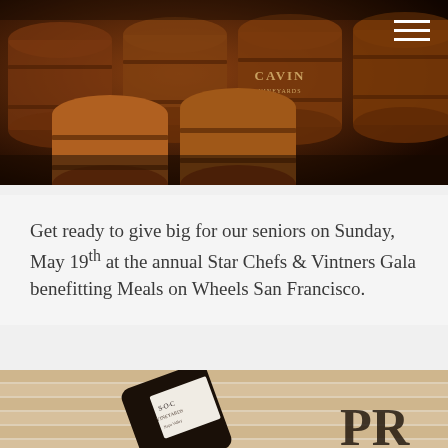[Figure (photo): Dark warm-toned photo of oak wine barrels stacked in a winery cellar, with 'CAVIN' text visible on one barrel]
Get ready to give big for our seniors on Sunday, May 19th at the annual Star Chefs & Vintners Gala benefitting Meals on Wheels San Francisco.
[Figure (photo): Close-up photo of a dark wine bottle with a white label laying on wooden boards, with 'PR' text partially visible]